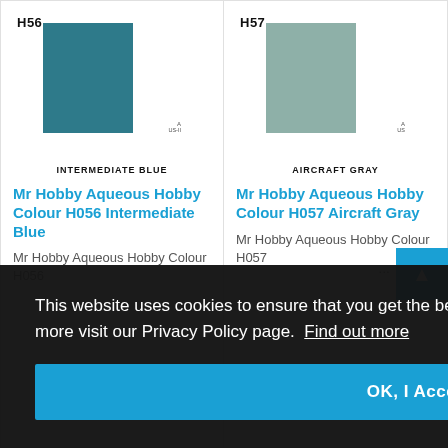[Figure (illustration): Paint chip card for H56 Intermediate Blue - shows a teal/dark blue square swatch with label H56, SG and A US-II markings]
INTERMEDIATE BLUE
Mr Hobby Aqueous Hobby Colour H056 Intermediate Blue
Mr Hobby Aqueous Hobby Colour H056
[Figure (illustration): Paint chip card for H57 Aircraft Gray - shows a light gray-green square swatch with label H57, G and A US markings]
AIRCRAFT GRAY
Mr Hobby Aqueous Hobby Colour H057 Aircraft Gray
Mr Hobby Aqueous Hobby Colour H057
This website uses cookies to ensure that you get the best user experience on our website. To find out more visit our Privacy Policy page.  Find out more
OK, I Accept